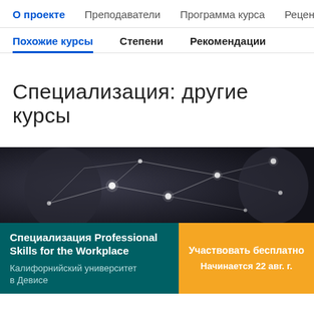О проекте  Преподаватели  Программа курса  Рецензии
Похожие курсы  Степени  Рекомендации
Специализация: другие курсы
[Figure (photo): Network/connectivity illustration with glowing nodes and lines on dark background, with blurred person in background]
Специализация Professional Skills for the Workplace
Калифорнийский университет в Девисе
Участвовать бесплатно
Начинается 22 авг. г.